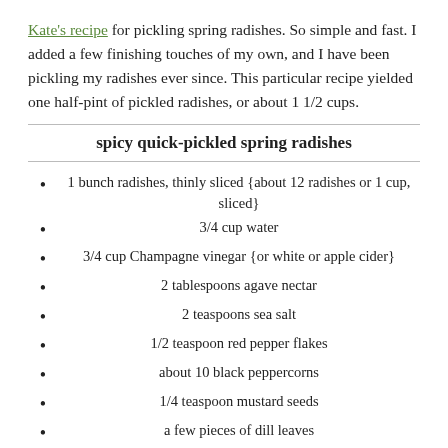Kate's recipe for pickling spring radishes. So simple and fast. I added a few finishing touches of my own, and I have been pickling my radishes ever since. This particular recipe yielded one half-pint of pickled radishes, or about 1 1/2 cups.
spicy quick-pickled spring radishes
1 bunch radishes, thinly sliced {about 12 radishes or 1 cup, sliced}
3/4 cup water
3/4 cup Champagne vinegar {or white or apple cider}
2 tablespoons agave nectar
2 teaspoons sea salt
1/2 teaspoon red pepper flakes
about 10 black peppercorns
1/4 teaspoon mustard seeds
a few pieces of dill leaves